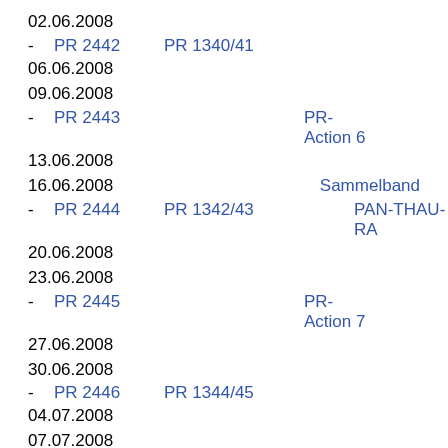02.06.2008
- PR 2442 PR 1340/41 06.06.2008
09.06.2008
- PR 2443 PR-Action 6 13.06.2008
16.06.2008
- PR 2444 PR 1342/43 Sammelband PAN-THAU-RA 20.06.2008
23.06.2008
- PR 2445 PR-Action 7 27.06.2008
30.06.2008
- PR 2446 PR 1344/45 04.07.2008
07.07.2008
- PR 2447 PR-